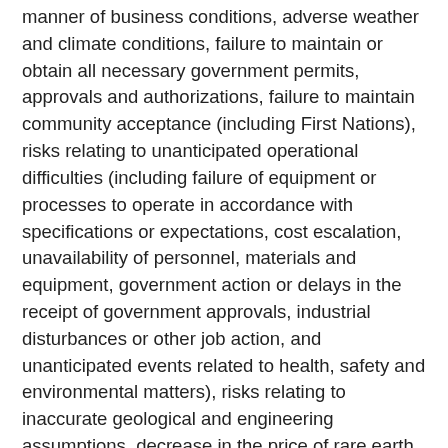manner of business conditions, adverse weather and climate conditions, failure to maintain or obtain all necessary government permits, approvals and authorizations, failure to maintain community acceptance (including First Nations),  risks relating to unanticipated operational difficulties (including failure of equipment or processes to operate in accordance with specifications or expectations, cost escalation, unavailability of personnel, materials and equipment, government action or delays in the receipt of government approvals, industrial disturbances or other job action, and unanticipated events related to health, safety and environmental matters), risks relating to inaccurate geological and engineering assumptions, decrease in the price of rare earth elements, the impact of Covid-19 or other viruses and diseases on the Company's ability to operate, an inability to predict and counteract the effects of COVID-19 on the business of the Company, including but not limited to, the effects of COVID-19 on the price of commodities, capital market conditions, restriction on labour and